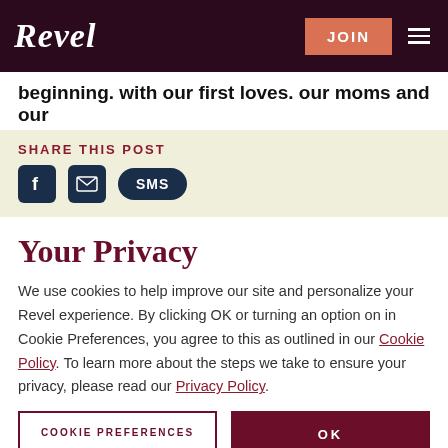Revel | JOIN
beginning. with our first loves. our moms and our
SHARE THIS POST
[Figure (infographic): Social share icons: Facebook, Email, SMS buttons on cream background]
Your Privacy
We use cookies to help improve our site and personalize your Revel experience. By clicking OK or turning an option on in Cookie Preferences, you agree to this as outlined in our Cookie Policy. To learn more about the steps we take to ensure your privacy, please read our Privacy Policy.
COOKIE PREFERENCES | OK